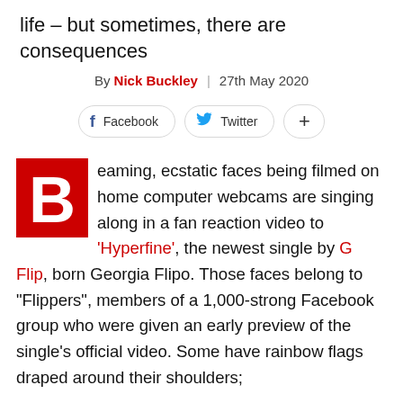life – but sometimes, there are consequences
By Nick Buckley | 27th May 2020
[Figure (other): Social share buttons: Facebook, Twitter, and a plus button]
Beaming, ecstatic faces being filmed on home computer webcams are singing along in a fan reaction video to 'Hyperfine', the newest single by G Flip, born Georgia Flipo. Those faces belong to "Flippers", members of a 1,000-strong Facebook group who were given an early preview of the single's official video. Some have rainbow flags draped around their shoulders;